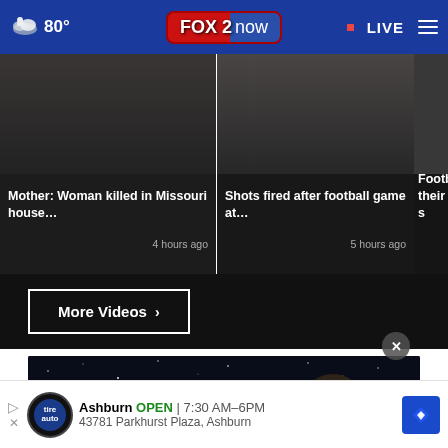FOX 2 now | 80° | LIVE
Mother: Woman killed in Missouri house… 4 hours ago
Shots fired after football game at… 5 hours ago
Footb their s
More Videos ›
[Figure (illustration): Illustration of an astronaut floating in space with Saturn and another planet visible against a dark starry background]
Ashburn  OPEN | 7:30 AM–6PM
43781 Parkhurst Plaza, Ashburn